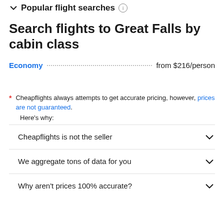Popular flight searches
Search flights to Great Falls by cabin class
Economy ... from $216/person
* Cheapflights always attempts to get accurate pricing, however, prices are not guaranteed. Here's why:
Cheapflights is not the seller
We aggregate tons of data for you
Why aren't prices 100% accurate?